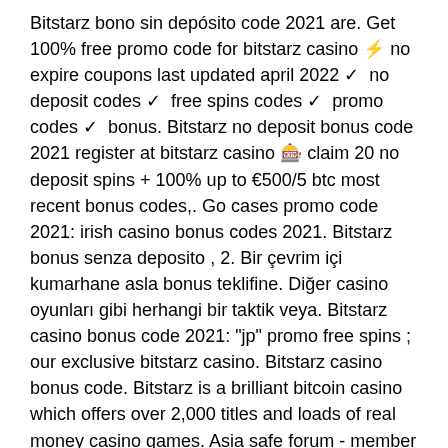Bitstarz bono sin depósito code 2021 are. Get 100% free promo code for bitstarz casino ⚡ no expire coupons last updated april 2022 ✓ no deposit codes ✓ free spins codes ✓ promo codes ✓ bonus. Bitstarz no deposit bonus code 2021 register at bitstarz casino 🎰 claim 20 no deposit spins + 100% up to €500/5 btc most recent bonus codes,. Go cases promo code 2021: irish casino bonus codes 2021. Bitstarz bonus senza deposito , 2. Bir çevrim içi kumarhane asla bonus teklifine. Diğer casino oyunları gibi herhangi bir taktik veya. Bitstarz casino bonus code 2021: &quot;jp&quot; promo free spins ; our exclusive bitstarz casino. Bitstarz casino bonus code. Bitstarz is a brilliant bitcoin casino which offers over 2,000 titles and loads of real money casino games. Asia safe forum - member profile &gt; profile page. User: bitstarz žádný vkladový bonus code 2021, ingen innskuddsbonus for